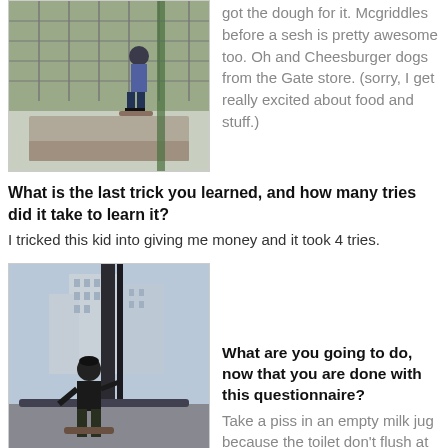[Figure (photo): Skateboarder performing a trick on a concrete ledge next to a chain-link fence outdoors]
got the dough for it. Mcgriddles before a sesh is pretty awesome too. Oh and Cheesburger dogs from the Gate store. (sorry, I get really excited about food and stuff.)
What is the last trick you learned, and how many tries did it take to learn it?
I tricked this kid into giving me money and it took 4 tries.
[Figure (photo): Skateboarder in black clothing performing a trick on a metal rail in an urban setting with tall buildings in the background]
What are you going to do, now that you are done with this questionnaire?
Take a piss in an empty milk jug because the toilet don't flush at the shop right now. Oh and Divorce Court is on.